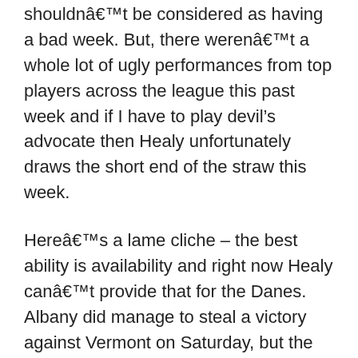shouldnâ€™t be considered as having a bad week. But, there werenâ€™t a whole lot of ugly performances from top players across the league this past week and if I have to play devil’s advocate then Healy unfortunately draws the short end of the straw this week.
Hereâ€™s a lame cliche – the best ability is availability and right now Healy canâ€™t provide that for the Danes. Albany did manage to steal a victory against Vermont on Saturday, but the team is still in the bottom third of the America East Standings and if the Danes are going to have any shot of returning the America East contender